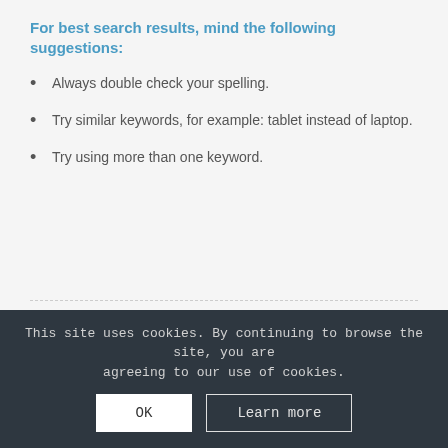For best search results, mind the following suggestions:
Always double check your spelling.
Try similar keywords, for example: tablet instead of laptop.
Try using more than one keyword.
Αναζήτηση προϊόντων…
Αναζήτηση
This site uses cookies. By continuing to browse the site, you are agreeing to our use of cookies.
OK
Learn more